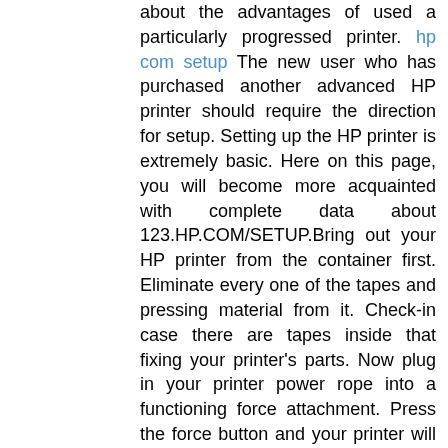about the advantages of used a particularly progressed printer. hp com setup The new user who has purchased another advanced HP printer should require the direction for setup. Setting up the HP printer is extremely basic. Here on this page, you will become more acquainted with complete data about 123.HP.COM/SETUP.Bring out your HP printer from the container first. Eliminate every one of the tapes and pressing material from it. Check-in case there are tapes inside that fixing your printer's parts. Now plug in your printer power rope into a functioning force attachment. Press the force button and your printer will begin blinking. Next, go to the printer's screen and set up the Language, Date, Region, etc that it asks for. Take the HP Printer unique ink cartridge out of the container. Open the cartridge entryway and addition each ink in the ideal place. If you are befuddled and don't have a clue how to embed the ink cartridges then you can take the assistance of the printer manual. Close the entryway and see you will get the message on the screen. Now take A4 size printing sheets and put enough sheets in the info tray. Your printer will adjust both sheets and ink cartridges. Presently it will request the association.